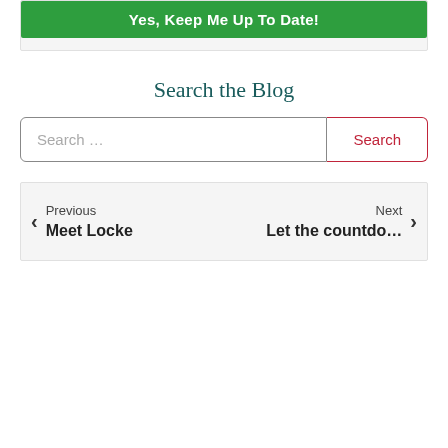[Figure (screenshot): Green button labeled 'Yes, Keep Me Up To Date!' inside a light gray box]
Search the Blog
[Figure (screenshot): Search input field with placeholder 'Search ...' and a red-outlined Search button]
Previous
Meet Locke
< | >
Next
Let the countdo…